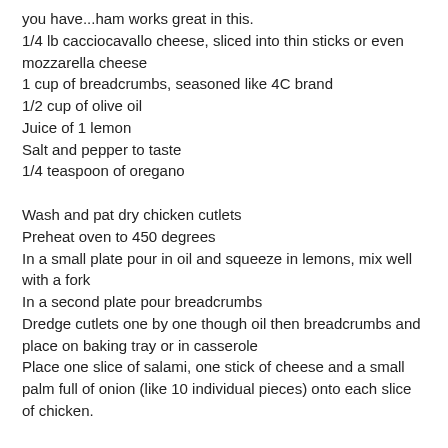you have...ham works great in this.
1/4 lb cacciocavallo cheese, sliced into thin sticks or even mozzarella cheese
1 cup of breadcrumbs, seasoned like 4C brand
1/2 cup of olive oil
Juice of 1 lemon
Salt and pepper to taste
1/4 teaspoon of oregano
Wash and pat dry chicken cutlets
Preheat oven to 450 degrees
In a small plate pour in oil and squeeze in lemons, mix well with a fork
In a second plate pour breadcrumbs
Dredge cutlets one by one though oil then breadcrumbs and place on baking tray or in casserole
Place one slice of salami, one stick of cheese and a small palm full of onion (like 10 individual pieces) onto each slice of chicken.